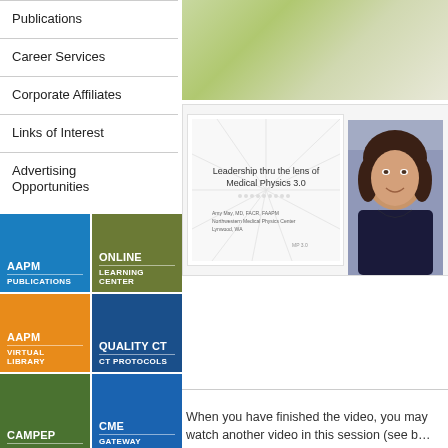Publications
Career Services
Corporate Affiliates
Links of Interest
Advertising Opportunities
[Figure (infographic): AAPM navigation tiles: AAPM Publications (blue), Online Learning Center (olive), AAPM Virtual Library (orange), Quality CT CT Protocols (navy), CAMPEP (green), CME Gateway (blue), Quality & Safety (dark blue), Links of Interest (orange)]
[Figure (screenshot): Video thumbnail showing slide titled 'Leadership thru the lens of Medical Physics 3.0' with presenter headshot of a woman with curly hair]
When you have finished the video, you may watch another video in this session (see b